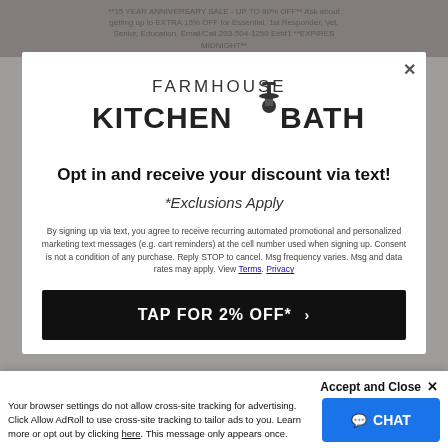**15 YEAR ANNIVERSARY SALE - UP TO 80% OFF** Ask about getting up to EXTRA 15% OFF for Essential, 1st Responder, Vet, Senior, Education. Email/Call 203-504-1250 Ext#1 **EXPIRES MIDNIGHT**
[Figure (logo): Farmhouse Kitchen & Bath logo with faucet icon]
Opt in and receive your discount via text!
*Exclusions Apply
By signing up via text, you agree to receive recurring automated promotional and personalized marketing text messages (e.g. cart reminders) at the cell number used when signing up. Consent is not a condition of any purchase. Reply STOP to cancel. Msg frequency varies. Msg and data rates may apply. View Terms. Privacy
TAP FOR 2% OFF* >
Accept and Close ✕
Your browser settings do not allow cross-site tracking for advertising. Click Allow AdRoll to use cross-site tracking to tailor ads to you. Learn more or opt out by clicking here. This message only appears once.